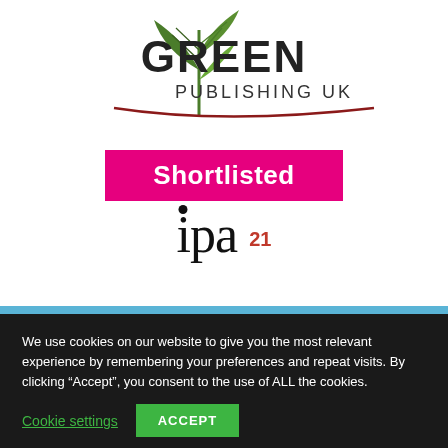[Figure (logo): Green Publishing UK logo with green plant/wheat graphic, dark red arc underline, and text 'GREEN PUBLISHING UK']
[Figure (logo): Pink/magenta rectangle badge with white bold text 'Shortlisted']
[Figure (logo): IPA 21 logo — large serif lowercase 'ipa' with a dot above the 'i', and red superscript '21']
We use cookies on our website to give you the most relevant experience by remembering your preferences and repeat visits. By clicking “Accept”, you consent to the use of ALL the cookies.
Cookie settings   ACCEPT